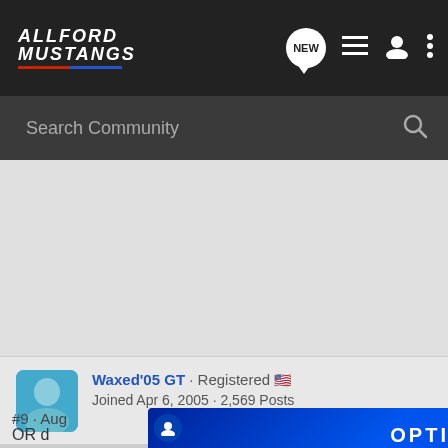[Figure (screenshot): AllFord Mustangs forum website screenshot showing navigation bar with logo, search bar, user profile section for Waxed'05 GT, and partial Optima Batteries advertisement]
ALLFORD MUSTANGS
Search Community
Waxed'05 GT · Registered 🇺🇸
Joined Apr 6, 2005 · 2,569 Posts
#9 · Aug
OR d
use